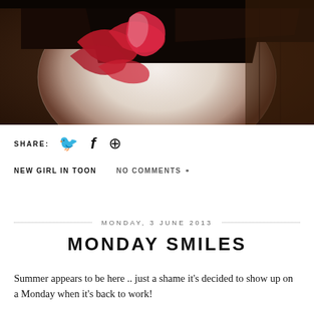[Figure (photo): Close-up photo of a chocolate cake slice with red berry/strawberry garnish on a white plate, on a dark wooden surface]
SHARE: [Twitter icon] [Facebook icon] [Pinterest icon]
NEW GIRL IN TOON    NO COMMENTS
MONDAY, 3 JUNE 2013
MONDAY SMILES
Summer appears to be here .. just a shame it's decided to show up on a Monday when it's back to work!